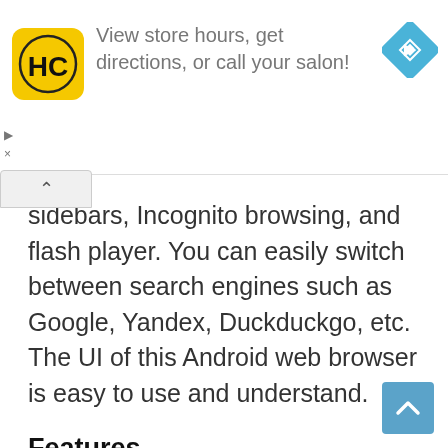[Figure (screenshot): Advertisement banner with HC logo (yellow background) on the left, text 'View store hours, get directions, or call your salon!' in gray, and a blue navigation diamond icon on the right. Play and close controls visible bottom-left.]
sidebars, Incognito browsing, and flash player. You can easily switch between search engines such as Google, Yandex, Duckduckgo, etc. The UI of this Android web browser is easy to use and understand.
Features
Flash Player
AdBlock (pop-up blocker)
Personalized Search
Fast Download